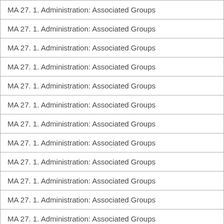| MA 27. 1. Administration: Associated Groups |
| MA 27. 1. Administration: Associated Groups |
| MA 27. 1. Administration: Associated Groups |
| MA 27. 1. Administration: Associated Groups |
| MA 27. 1. Administration: Associated Groups |
| MA 27. 1. Administration: Associated Groups |
| MA 27. 1. Administration: Associated Groups |
| MA 27. 1. Administration: Associated Groups |
| MA 27. 1. Administration: Associated Groups |
| MA 27. 1. Administration: Associated Groups |
| MA 27. 1. Administration: Associated Groups |
| MA 27. 1. Administration: Associated Groups |